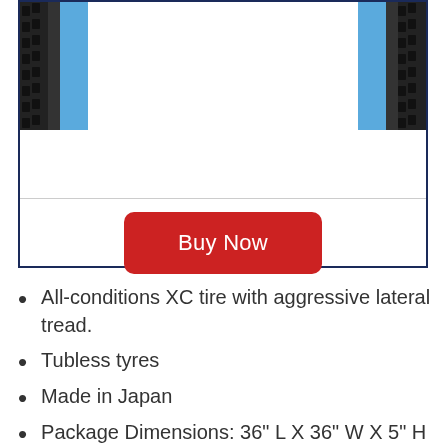[Figure (photo): Product image box showing two bicycle tires with blue sidewalls and aggressive tread, inside a dark navy border. A horizontal divider separates the image area from a red 'Buy Now' button below.]
All-conditions XC tire with aggressive lateral tread.
Tubless tyres
Made in Japan
Package Dimensions: 36" L X 36" W X 5" H